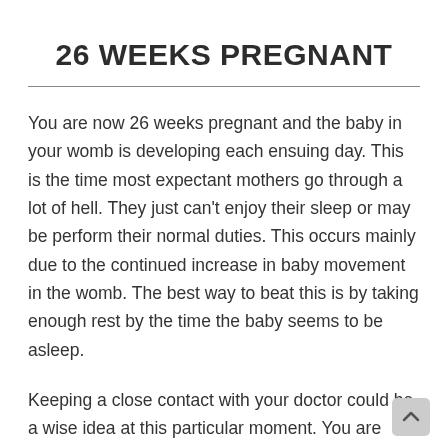26 WEEKS PREGNANT
You are now 26 weeks pregnant and the baby in your womb is developing each ensuing day. This is the time most expectant mothers go through a lot of hell. They just can't enjoy their sleep or may be perform their normal duties. This occurs mainly due to the continued increase in baby movement in the womb. The best way to beat this is by taking enough rest by the time the baby seems to be asleep.
Keeping a close contact with your doctor could be a wise idea at this particular moment. You are actually